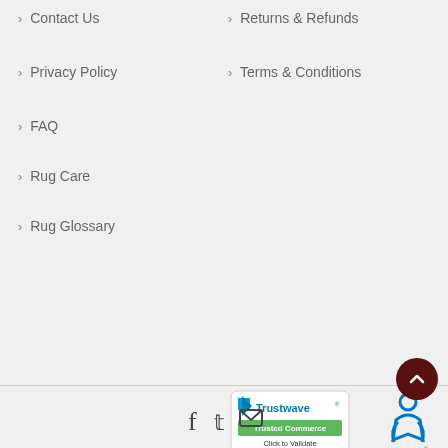> Contact Us
> Returns & Refunds
> Privacy Policy
> Terms & Conditions
> FAQ
> Rug Care
> Rug Glossary
[Figure (infographic): Reviews.io widget showing 4.92 out of 5 rating with 671 reviews, 5 stars, dark footer with REVIEWS.io logo]
[Figure (logo): Trustwave Trusted Commerce Click to Validate badge]
[Figure (logo): Goodweave logo]
[Figure (logo): Payment logos: VISA, MasterCard, American Express, PayPal]
[Figure (infographic): Social icons: Facebook, Twitter, Email]